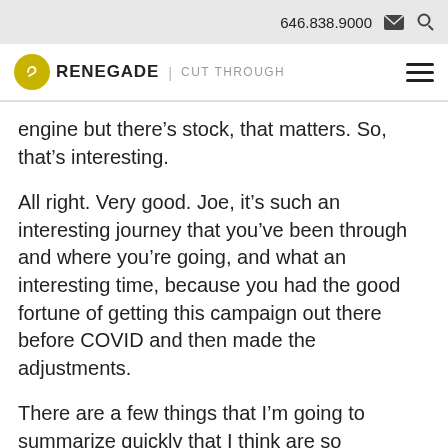646.838.9000
RENEGADE | CUT THROUGH
engine but there’s stock, that matters. So, that’s interesting.
All right. Very good. Joe, it’s such an interesting journey that you’ve been through and where you’re going, and what an interesting time, because you had the good fortune of getting this campaign out there before COVID and then made the adjustments.
There are a few things that I’m going to summarize quickly that I think are so interesting here. You’ve got to do your homework and make sure you understand your target really well and understand